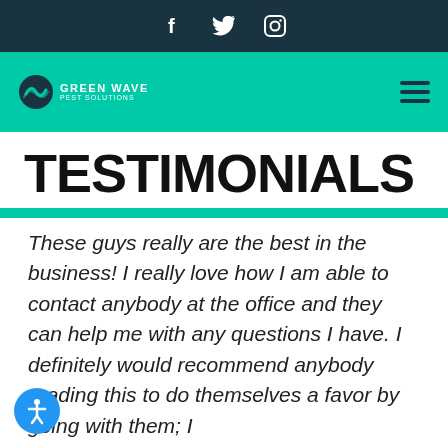Social icons: Facebook, Twitter, Instagram
[Figure (logo): Green Wave Pest Solutions logo with teal circular icon and navigation hamburger menu]
TESTIMONIALS
These guys really are the best in the business! I really love how I am able to contact anybody at the office and they can help me with any questions I have. I definitely would recommend anybody reading this to do themselves a favor by going with them; I